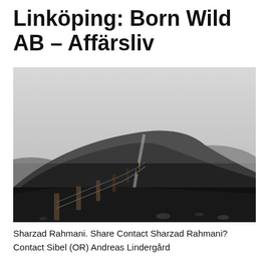Linköping: Born Wild AB – Affärsliv
[Figure (photo): Black and white landscape photograph showing rolling hills with a wooden fence line running up a hillside path. Misty, overcast sky in the background.]
Sharzad Rahmani. Share Contact Sharzad Rahmani? Contact Sibel (OR) Andreas Lindergård